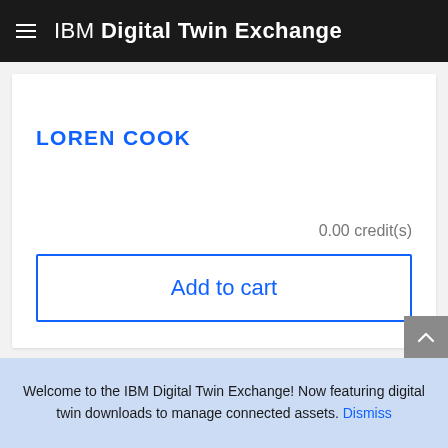IBM Digital Twin Exchange
LOREN COOK
0.00 credit(s)
[Figure (illustration): Heart/favorite icon outline in blue]
Add to cart
Welcome to the IBM Digital Twin Exchange! Now featuring digital twin downloads to manage connected assets. Dismiss